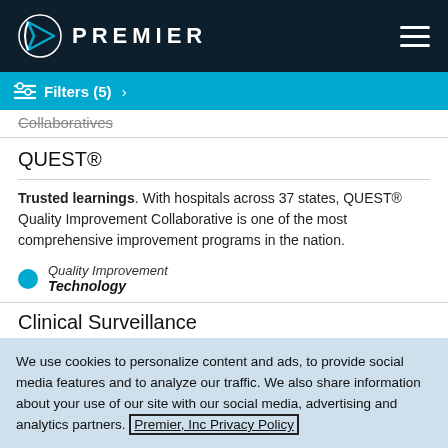PREMIER
Filters (5) >
Collaboratives
QUEST®
Trusted learnings. With hospitals across 37 states, QUEST® Quality Improvement Collaborative is one of the most comprehensive improvement programs in the nation.
Quality Improvement
Technology
Clinical Surveillance
We use cookies to personalize content and ads, to provide social media features and to analyze our traffic. We also share information about your use of our site with our social media, advertising and analytics partners. Premier, Inc Privacy Policy